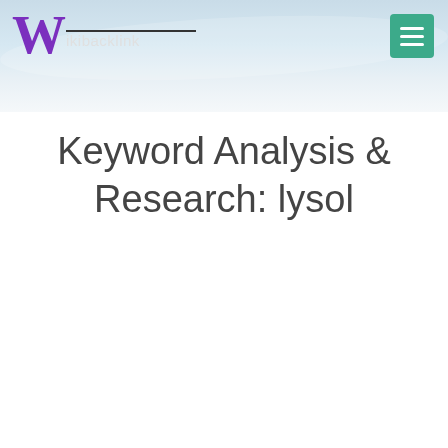Wikibacklink
Keyword Analysis & Research: lysol